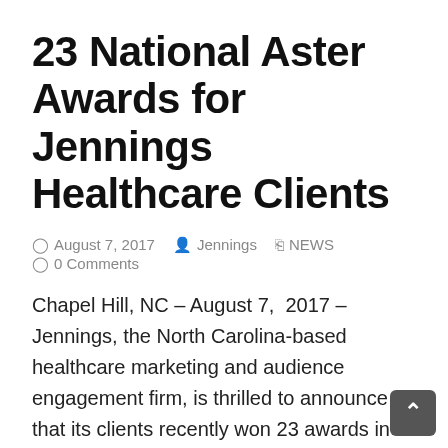23 National Aster Awards for Jennings Healthcare Clients
August 7, 2017  Jennings  NEWS  0 Comments
Chapel Hill, NC – August 7, 2017 – Jennings, the North Carolina-based healthcare marketing and audience engagement firm, is thrilled to announce that its clients recently won 23 awards in one of the leading national healthcare marketing awards competition The Aster Awards is an elite program that